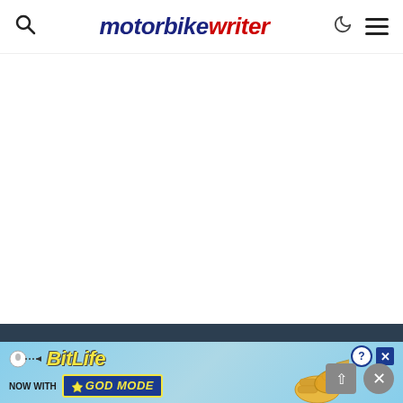motorbike writer — navigation bar with search, logo, dark mode toggle, and menu
[Figure (screenshot): Blank white main content area below the header]
[Figure (screenshot): Dark navy footer bar]
[Figure (screenshot): BitLife advertisement banner: 'BitLife NOW WITH GOD MODE' with hand graphic, help and close buttons]